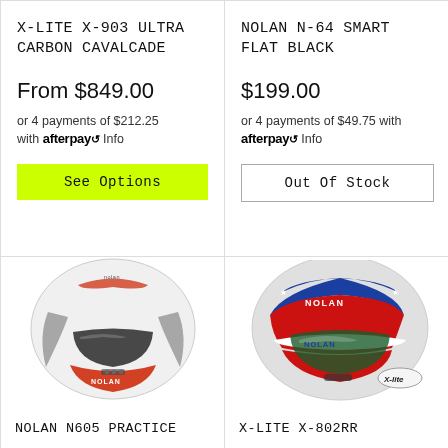X-LITE X-903 ULTRA CARBON CAVALCADE
From $849.00
or 4 payments of $212.25 with afterpay Info
See Options
NOLAN N-64 SMART FLAT BLACK
$199.00
or 4 payments of $49.75 with afterpay Info
Out Of Stock
[Figure (photo): White Nolan N605 Practice motorcycle helmet with red and grey graphics]
NOLAN N605 PRACTICE
[Figure (photo): Red, white and blue X-Lite X-802RR motorcycle helmet with Nolan/X-lite branding and racing graphics]
X-LITE X-802RR